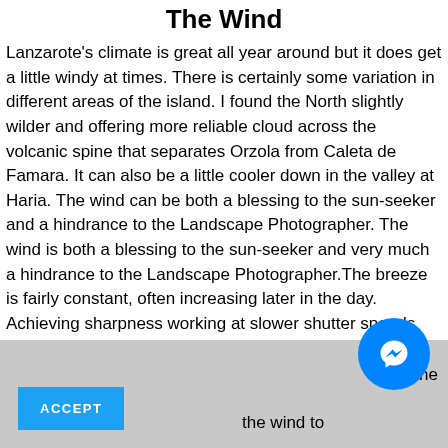The Wind
Lanzarote's climate is great all year around but it does get a little windy at times. There is certainly some variation in different areas of the island. I found the North slightly wilder and offering more reliable cloud across the volcanic spine that separates Orzola from Caleta de Famara. It can also be a little cooler down in the valley at Haria. The wind can be both a blessing to the sun-seeker and a hindrance to the Landscape Photographer. The wind is both a blessing to the sun-seeker and very much a hindrance to the Landscape Photographer.The breeze is fairly constant, often increasing later in the day. Achieving sharpness working at slower shutter speeds can be a challenge later in the day if you are using drop in filtration. I happened to have packed the largest of the lot. At times was ... The ... the wind to